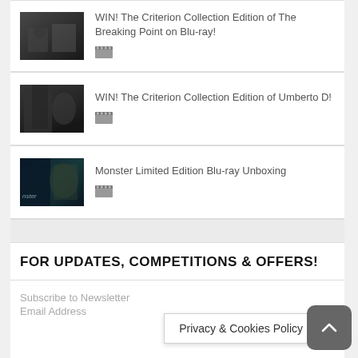WIN! The Criterion Collection Edition of The Breaking Point on Blu-ray!
WIN! The Criterion Collection Edition of Umberto D!
Monster Limited Edition Blu-ray Unboxing
FOR UPDATES, COMPETITIONS & OFFERS!
Subscribe to Newsletter
Email Address
Privacy & Cookies Policy